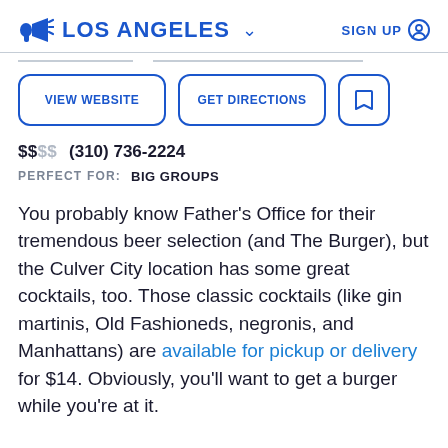LOS ANGELES  SIGN UP
VIEW WEBSITE   GET DIRECTIONS   [bookmark icon]
$$SS  (310) 736-2224
PERFECT FOR:  BIG GROUPS
You probably know Father's Office for their tremendous beer selection (and The Burger), but the Culver City location has some great cocktails, too. Those classic cocktails (like gin martinis, Old Fashioneds, negronis, and Manhattans) are available for pickup or delivery for $14. Obviously, you'll want to get a burger while you're at it.